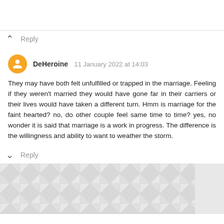Reply
DeHeroine 11 January 2022 at 14:03
They may have both felt unfulfilled or trapped in the marriage. Feeling if they weren't married they would have gone far in their carriers or their lives would have taken a different turn. Hmm is marriage for the faint hearted? no, do other couple feel same time to time? yes, no wonder it is said that marriage is a work in progress. The difference is the willingness and ability to want to weather the storm.
Reply
[Figure (illustration): Geometric diamond/triangle tessellation pattern in light grey tones forming a decorative background area at the bottom of the page.]